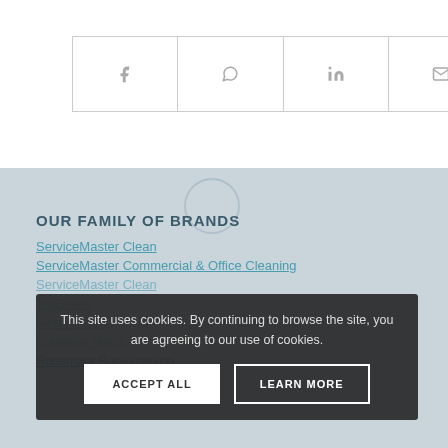[Figure (other): Social sharing bar with four icons: Facebook (f), WhatsApp, LinkedIn (in), Email (envelope)]
OUR FAMILY OF BRANDS
ServiceMaster Clean
ServiceMaster Commercial & Office Cleaning
ServiceMaster Clean
TruGreen
Merry Maids
Furniture Medic
Rosemary Bookkeeping
This site uses cookies. By continuing to browse the site, you are agreeing to our use of cookies.
ACCEPT ALL | LEARN MORE